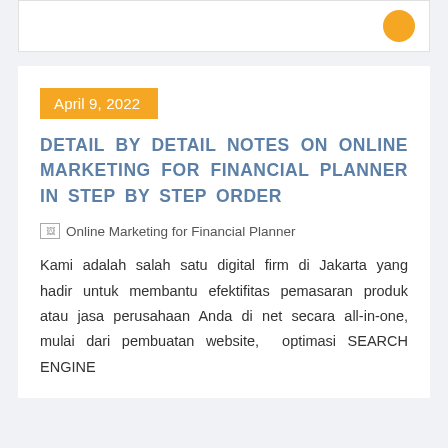April 9, 2022
DETAIL BY DETAIL NOTES ON ONLINE MARKETING FOR FINANCIAL PLANNER IN STEP BY STEP ORDER
[Figure (photo): Online Marketing for Financial Planner - broken image placeholder]
Kami adalah salah satu digital firm di Jakarta yang hadir untuk membantu efektifitas pemasaran produk atau jasa perusahaan Anda di net secara all-in-one, mulai dari pembuatan website, optimasi SEARCH ENGINE